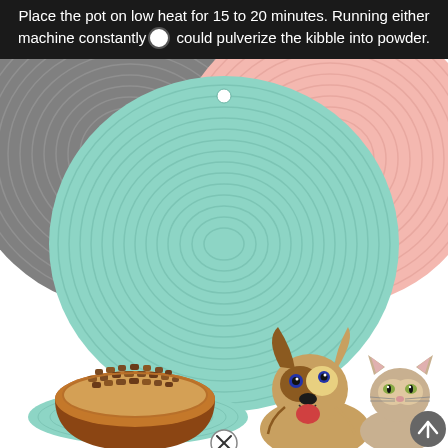Place the pot on low heat for 15 to 20 minutes. Running either machine constantly could pulverize the kibble into powder.
[Figure (photo): Three circular silicone pet food mats in gray, teal/mint, and pink colors with concentric ring patterns and small hanging holes. Below them is a wooden bowl filled with dry pet kibble sitting on a teal mat, alongside photos of a smiling Australian Shepherd dog and a tabby cat.]